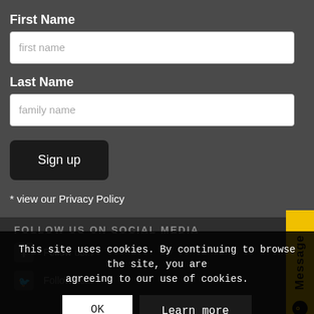First Name
first name
Last Name
family name
Sign up
* view our Privacy Policy
Message
FOLLOW US ON SOCIAL MEDIA
Follow us...
Follow us...
This site uses cookies. By continuing to browse the site, you are agreeing to our use of cookies.
OK
Learn more